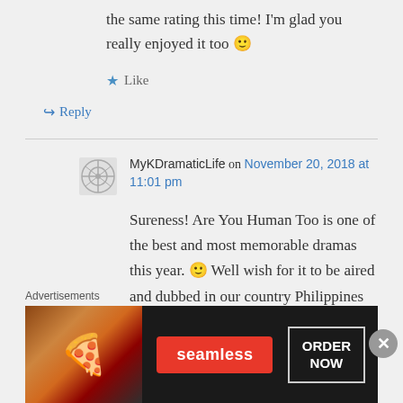the same rating this time! I'm glad you really enjoyed it too 🙂
★ Like
↪ Reply
MyKDramaticLife on November 20, 2018 at 11:01 pm
Sureness! Are You Human Too is one of the best and most memorable dramas this year. 🙂 Well wish for it to be aired and dubbed in our country Philippines
Advertisements
[Figure (screenshot): Seamless food delivery advertisement banner with pizza image, Seamless red logo badge, and ORDER NOW button in white box on dark background]